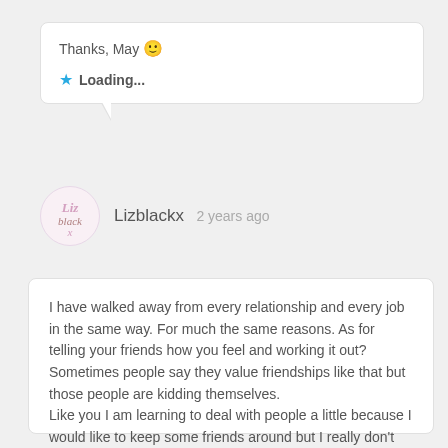Thanks, May 😊
Loading...
Lizblackx  2 years ago
I have walked away from every relationship and every job in the same way. For much the same reasons. As for telling your friends how you feel and working it out? Sometimes people say they value friendships like that but those people are kidding themselves.
Like you I am learning to deal with people a little because I would like to keep some friends around but I really don't cope with people well..
Loading...